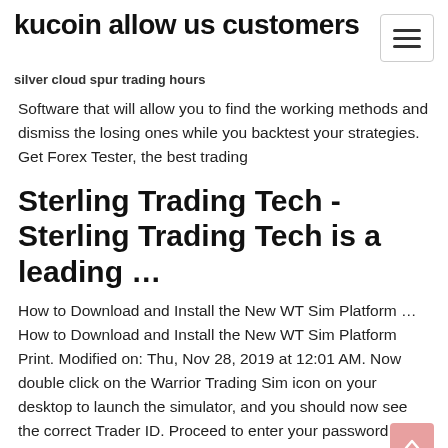kucoin allow us customers
silver cloud spur trading hours
Software that will allow you to find the working methods and dismiss the losing ones while you backtest your strategies. Get Forex Tester, the best trading
Sterling Trading Tech - Sterling Trading Tech is a leading ...
How to Download and Install the New WT Sim Platform … How to Download and Install the New WT Sim Platform Print. Modified on: Thu, Nov 28, 2019 at 12:01 AM. Now double click on the Warrior Trading Sim icon on your desktop to launch the simulator, and you should now see the correct Trader ID. Proceed to enter your password to login.
The Warrior Trading Simulator platform allows paper trading